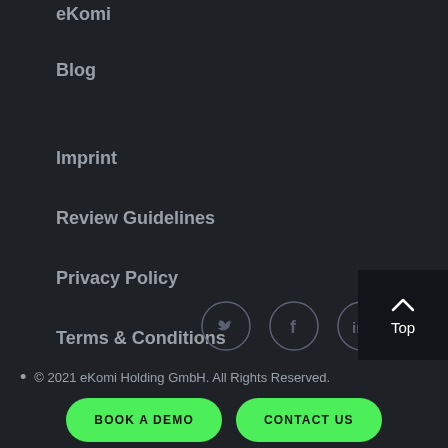eKomi
Blog
Imprint
Review Guidelines
Privacy Policy
Terms & Conditions
[Figure (other): Social media icons: Twitter, Facebook, LinkedIn in circular outlines]
[Figure (other): Back to top button with upward chevron arrow and 'Top' label on dark background]
© 2021 eKomi Holding GmbH. All Rights Reserved.
BOOK A DEMO
CONTACT US